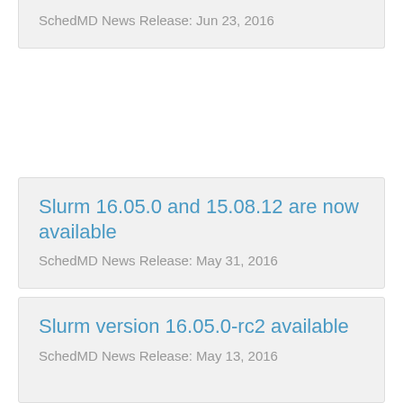SchedMD News Release: Jun 23, 2016
Slurm 16.05.0 and 15.08.12 are now available
SchedMD News Release: May 31, 2016
Slurm version 16.05.0-rc2 available
SchedMD News Release: May 13, 2016